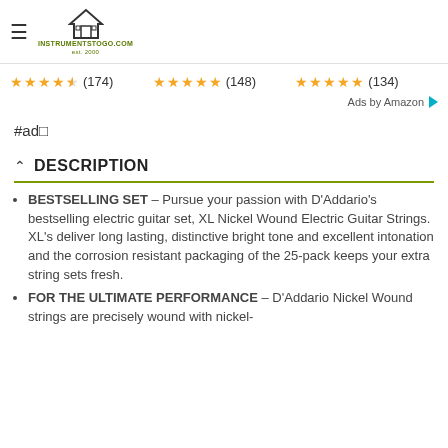instrumentstogo.com
★★★★☆ (174)   ★★★★★ (148)   ★★★★★ (134)
Ads by Amazon
#ad🔢
DESCRIPTION
BESTSELLING SET – Pursue your passion with D'Addario's bestselling electric guitar set, XL Nickel Wound Electric Guitar Strings. XL's deliver long lasting, distinctive bright tone and excellent intonation and the corrosion resistant packaging of the 25-pack keeps your extra string sets fresh.
FOR THE ULTIMATE PERFORMANCE – D'Addario Nickel Wound strings are precisely wound with nickel-